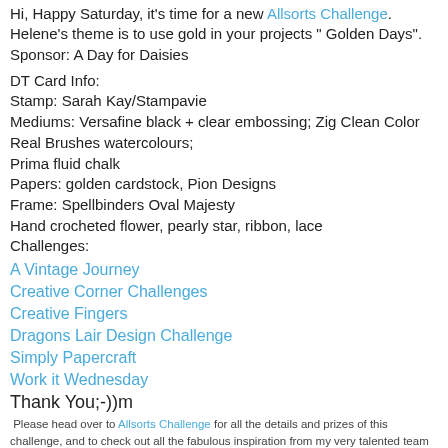Hi, Happy Saturday, it's time for a new Allsorts Challenge. Helene's theme is to use gold in your projects " Golden Days". Sponsor: A Day for Daisies
DT Card Info:
Stamp: Sarah Kay/Stampavie
Mediums: Versafine black + clear embossing; Zig Clean Color Real Brushes watercolours;
Prima fluid chalk
Papers: golden cardstock, Pion Designs
Frame: Spellbinders Oval Majesty
Hand crocheted flower, pearly star, ribbon, lace
Challenges:
A Vintage Journey
Creative Corner Challenges
Creative Fingers
Dragons Lair Design Challenge
Simply Papercraft
Work it Wednesday
Thank You;-))m
Please head over to Allsorts Challenge for all the details and prizes of this challenge, and to check out all the fabulous inspiration from my very talented team mates.